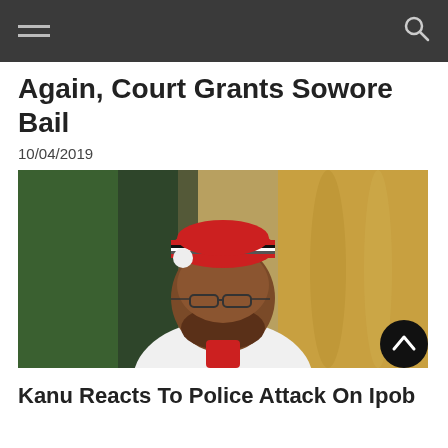navigation bar with hamburger menu and search icon
Again, Court Grants Sowore Bail
10/04/2019
[Figure (photo): Portrait photo of a man wearing a red, black, grey and white knit cap and glasses, with a beard, wearing a white garment with a red knit tie/scarf, seated in front of a green flag and golden/yellow fabric background.]
Kanu Reacts To Police Attack On Ipob